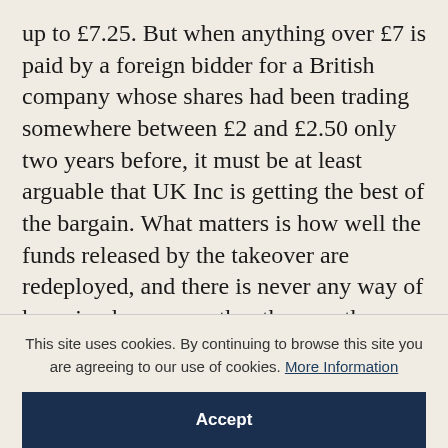up to £7.25. But when anything over £7 is paid by a foreign bidder for a British company whose shares had been trading somewhere between £2 and £2.50 only two years before, it must be at least arguable that UK Inc is getting the best of the bargain. What matters is how well the funds released by the takeover are redeployed, and there is never any way of knowing how one rather than another alternative scenario would in fact have worked out. But I was only too well aware that this bid had occurred at a time when my colleagues and
This site uses cookies. By continuing to browse this site you are agreeing to our use of cookies. More Information
Accept